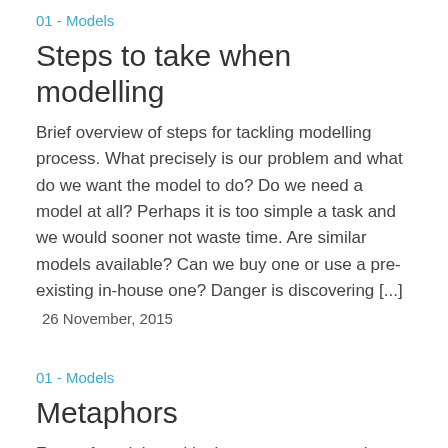01 - Models
Steps to take when modelling
Brief overview of steps for tackling modelling process. What precisely is our problem and what do we want the model to do? Do we need a model at all? Perhaps it is too simple a task and we would sooner not waste time. Are similar models available? Can we buy one or use a pre-existing in-house one? Danger is discovering [...]
26 November, 2015
01 - Models
Metaphors
Form of model used by humans to communicate. Still a